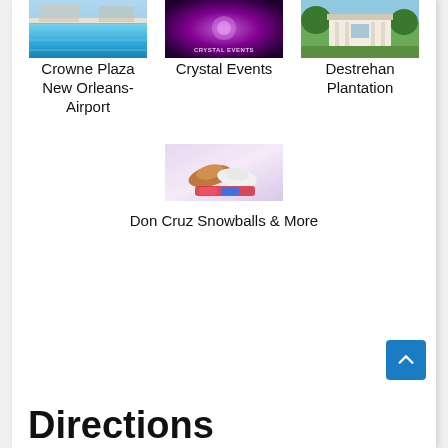[Figure (photo): Photo of a swimming pool (Crowne Plaza New Orleans-Airport)]
[Figure (photo): Photo with purple/magenta lighting labeled Crystal Events]
[Figure (photo): Photo of a white plantation mansion (Destrehan Plantation)]
Crowne Plaza New Orleans-Airport
Crystal Events
Destrehan Plantation
[Figure (photo): Photo of snowballs / frozen treats on a light purple background (Don Cruz Snowballs & More)]
Don Cruz Snowballs & More
Directions